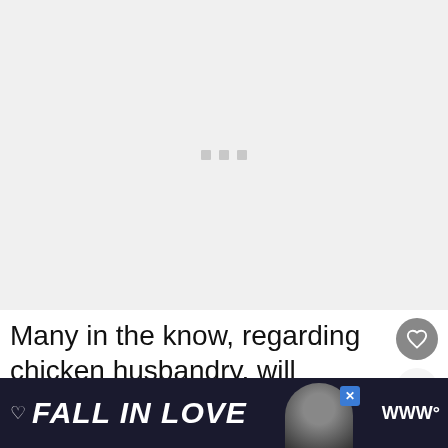[Figure (other): Large light gray image placeholder with three small gray loading dots in the center, indicating an image is loading]
Many in the know, regarding chicken husbandry, will discourage you fro...
[Figure (other): Advertisement banner at bottom showing 'FALL IN LOVE' text in white bold italic on dark background, with a dog image and Tidal music service logo]